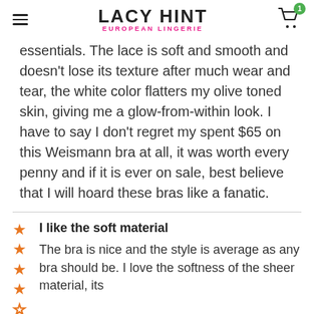LACY HINT EUROPEAN LINGERIE
essentials. The lace is soft and smooth and doesn’t lose its texture after much wear and tear, the white color flatters my olive toned skin, giving me a glow-from-within look. I have to say I don’t regret my spent $65 on this Weismann bra at all, it was worth every penny and if it is ever on sale, best believe that I will hoard these bras like a fanatic.
I like the soft material
The bra is nice and the style is average as any bra should be. I love the softness of the sheer material, its